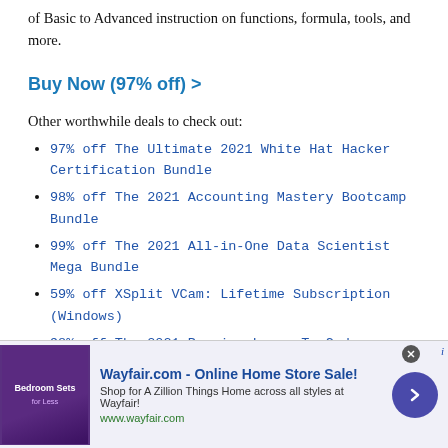of Basic to Advanced instruction on functions, formula, tools, and more.
Buy Now (97% off) >
Other worthwhile deals to check out:
97% off The Ultimate 2021 White Hat Hacker Certification Bundle
98% off The 2021 Accounting Mastery Bootcamp Bundle
99% off The 2021 All-in-One Data Scientist Mega Bundle
59% off XSplit VCam: Lifetime Subscription (Windows)
98% off The 2021 Premium Learn To Code Certification Bundle
62% off MindMaster Mind Mapping Software: Perpetual License
XX% off NetSpot Home Wi-Fi Analyzer: Lifetime Upgrade...
[Figure (infographic): Wayfair.com advertisement banner with purple bedroom furniture image, title 'Wayfair.com - Online Home Store Sale!', description text, green URL, and blue circular arrow button.]